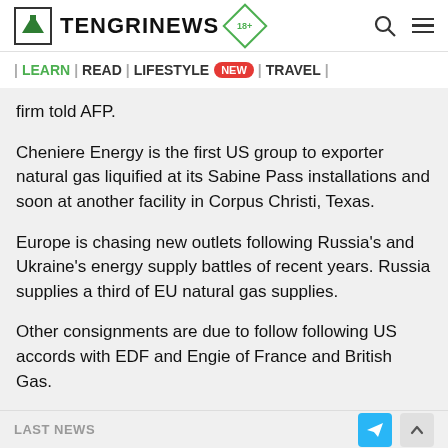TENGRINEWS 18+
| LEARN | READ | LIFESTYLE NEW | TRAVEL |
firm told AFP.
Cheniere Energy is the first US group to exporter natural gas liquified at its Sabine Pass installations and soon at another facility in Corpus Christi, Texas.
Europe is chasing new outlets following Russia's and Ukraine's energy supply battles of recent years. Russia supplies a third of EU natural gas supplies.
Other consignments are due to follow following US accords with EDF and Engie of France and British Gas.
LAST NEWS